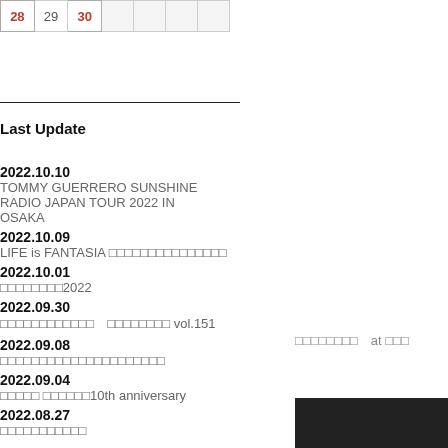| 28 | 29 | 30 |  |  |  |  |
Last Update
2022.10.10
TOMMY GUERRERO SUNSHINE RADIO JAPAN TOUR 2022 IN OSAKA
2022.10.09
LIFE is FANTASIA　□□□□□□□□□□□□□□□
2022.10.01
□□□□□□□□2022
2022.09.30
□□□□□□□□□□□□　□□□□□□□□ vol.151
2022.09.08
□□□□□□□□□□□□□□□□□□□□□
2022.09.04
□□□□□ □□□□□□10th anniversary
2022.08.27
□□□□□□□□□□□□
□□□□□□□□　at □□□
[Figure (photo): dark image at bottom right]